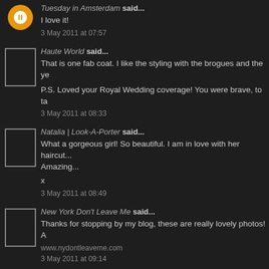Tuesday in Amsterdam said... I love it! 3 May 2011 at 07:57
Haute World said... That is one fab coat. I like the styling with the brogues and the ye... P.S. Loved your Royal Wedding coverage! You were brave, to ta... 3 May 2011 at 08:33
Natalia | Look-A-Porter said... What a gorgeous girl! So beautiful. I am in love with her haircut... Amazing... x 3 May 2011 at 08:49
New York Don't Leave Me said... Thanks for stopping by my blog, these are really lovely photos! A www.nydontleaveme.com 3 May 2011 at 09:14